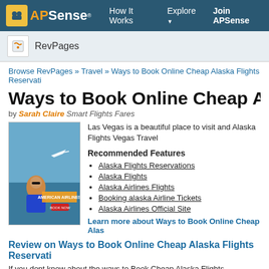APSense — How It Works  Explore  Join APSense
RevPages
Browse RevPages » Travel » Ways to Book Online Cheap Alaska Flights Reservati
Ways to Book Online Cheap Alaska Fl
by Sarah Claire Smart Flights Fares
[Figure (photo): American Airlines advertisement with woman sitting and airplane graphic]
Las Vegas is a beautiful place to visit and Alaska Flights Vegas Travel
Recommended Features
Alaska Flights Reservations
Alaska Flights
Alaska Airlines Flights
Booking alaska Airline Tickets
Alaska Airlines Official Site
Learn more about Ways to Book Online Cheap Alas
Review on Ways to Book Online Cheap Alaska Flights Reservati
If you dont know about the ways to Book Cheap Alaska Flights Reservations